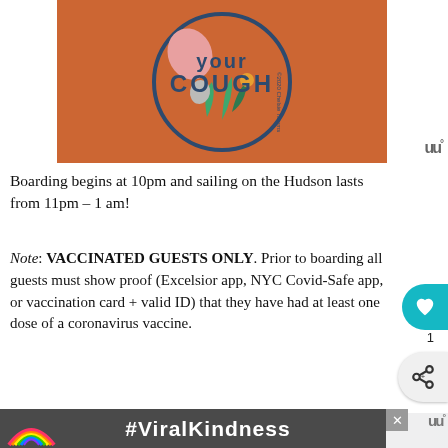[Figure (illustration): Orange circle background with 'COUGH' text in dark teal, pink and green leaf/splash decorative shapes, and '©2020 Chelsie Tamms' watermark]
Boarding begins at 10pm and sailing on the Hudson lasts from 11pm – 1 am!
Note: VACCINATED GUESTS ONLY. Prior to boarding all guests must show proof (Excelsior app, NYC Covid-Safe app, or vaccination card + valid ID) that they have had at least one dose of a coronavirus vaccine.
[Figure (photo): Photo of food and drinks on a table — orange drink, green drink in glass bottle, with hands visible in background]
[Figure (infographic): #ViralKindness advertisement with rainbow chalk drawing on dark background]